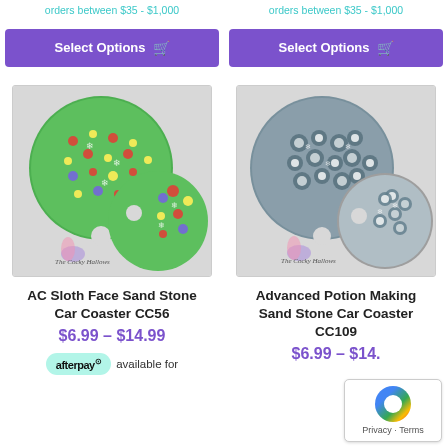orders between $35 - $1,000
orders between $35 - $1,000
Select Options 🛒
Select Options 🛒
[Figure (photo): Two round green car coasters with colorful polka dot and snowflake pattern, The Cocky Hallows logo]
[Figure (photo): Two round grey/blue car coasters with rose and snowflake pattern, The Cocky Hallows logo]
AC Sloth Face Sand Stone Car Coaster CC56
Advanced Potion Making Sand Stone Car Coaster CC109
$6.99 – $14.99
$6.99 – $14.
afterpay available for
Privacy · Terms